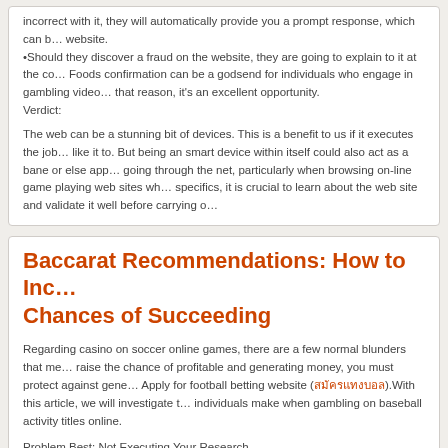incorrect with it, they will automatically provide you a prompt response, which can be found on the website.
•Should they discover a fraud on the website, they are going to explain to it at the co… Foods confirmation can be a godsend for individuals who engage in gambling video… that reason, it's an excellent opportunity.
Verdict:
The web can be a stunning bit of devices. This is a benefit to us if it executes the job… like it to. But being an smart device within itself could also act as a bane or else app… going through the net, particularly when browsing on-line game playing web sites wh… specifics, it is crucial to learn about the web site and validate it well before carrying o…
Baccarat Recommendations: How to Increase Chances of Succeeding
Regarding casino on soccer online games, there are a few normal blunders that me… raise the chance of profitable and generating money, you must protect against gene… Apply for football betting website (สมัครแทงบอล).With this article, we will investigate t… individuals make when gambling on baseball activity titles online.
Problem Best: Not Executing Your Research